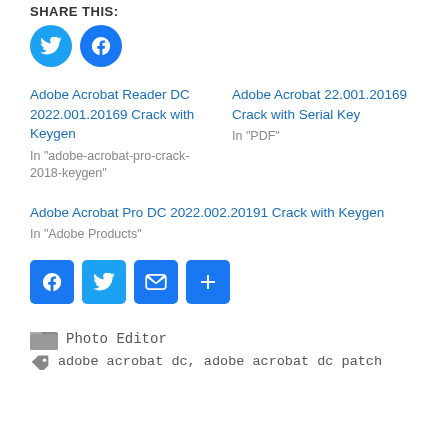SHARE THIS:
[Figure (illustration): Twitter and Facebook circular share buttons]
Adobe Acrobat Reader DC 2022.001.20169 Crack with Keygen
In "adobe-acrobat-pro-crack-2018-keygen"
Adobe Acrobat 22.001.20169 Crack with Serial Key
In "PDF"
Adobe Acrobat Pro DC 2022.002.20191 Crack with Keygen
In "Adobe Products"
[Figure (illustration): Facebook, Twitter, Email, and Share square icon buttons]
Photo Editor
adobe acrobat dc, adobe acrobat dc patch